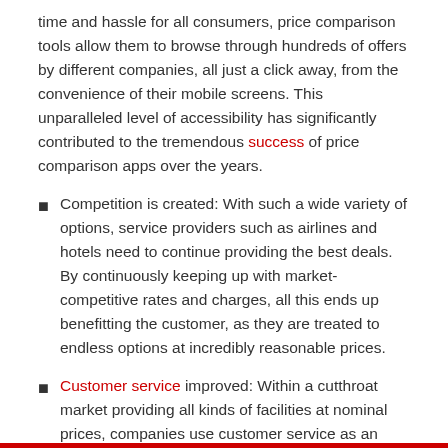time and hassle for all consumers, price comparison tools allow them to browse through hundreds of offers by different companies, all just a click away, from the convenience of their mobile screens. This unparalleled level of accessibility has significantly contributed to the tremendous success of price comparison apps over the years.
Competition is created: With such a wide variety of options, service providers such as airlines and hotels need to continue providing the best deals. By continuously keeping up with market-competitive rates and charges, all this ends up benefitting the customer, as they are treated to endless options at incredibly reasonable prices.
Customer service improved: Within a cutthroat market providing all kinds of facilities at nominal prices, companies use customer service as an effective